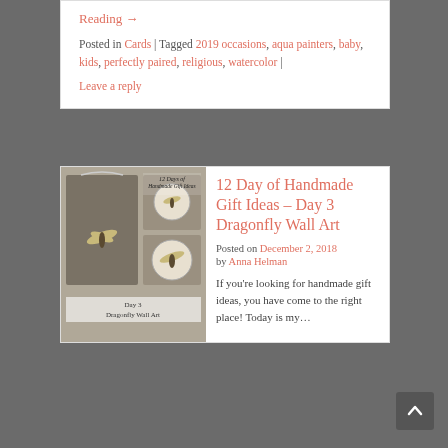Reading → | Posted in Cards | Tagged 2019 occasions, aqua painters, baby, kids, perfectly paired, religious, watercolor | Leave a reply
[Figure (photo): Blog post thumbnail showing '12 Days of Handmade Gift Ideas – Day 3 Dragonfly Wall Art' with photos of dragonfly wall art decorations]
12 Day of Handmade Gift Ideas – Day 3 Dragonfly Wall Art
Posted on December 2, 2018 by Anna Helman

If you're looking for handmade gift ideas, you have come to the right place! Today is my…